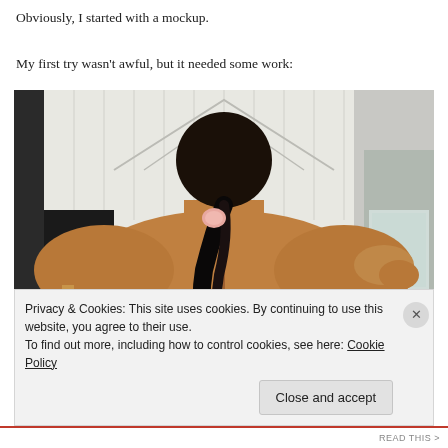Obviously, I started with a mockup.
My first try wasn't awful, but it needed some work:
[Figure (photo): Back view of a person with dark hair in a ponytail, wearing a tan/camel colored coat, standing outdoors near a white wooden building.]
Privacy & Cookies: This site uses cookies. By continuing to use this website, you agree to their use.
To find out more, including how to control cookies, see here: Cookie Policy
Close and accept